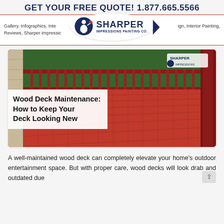GET YOUR FREE QUOTE! 1.877.665.5566
Gallery, Infographics, Interior Design, Interior Painting, Reviews, Sharper Impressions Painting Co.
[Figure (logo): Sharper Impressions Painting Co. logo with painter icon]
[Figure (photo): Photo of a red-painted wood deck with vertical railing spindles, viewed from above, surrounded by green trees]
Wood Deck Maintenance: How to Keep Your Deck Looking New
A well-maintained wood deck can completely elevate your home's outdoor entertainment space. But with proper care, wood decks will look drab and outdated due